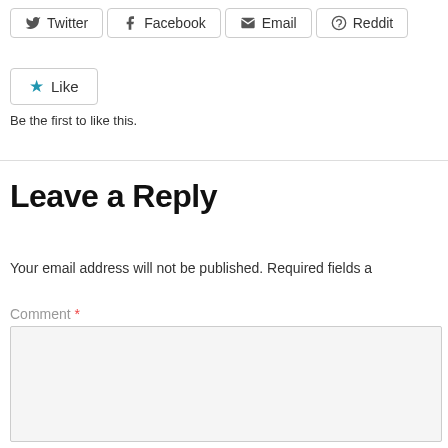Twitter  Facebook  Email  Reddit
Like
Be the first to like this.
Leave a Reply
Your email address will not be published. Required fields a
Comment *